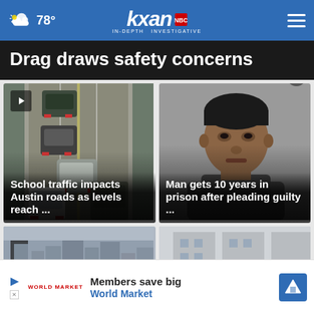78° | KXAN IN-DEPTH INVESTIGATIVE
Drag draws safety concerns
[Figure (photo): Aerial view of cars on a road — traffic camera shot showing multiple vehicles from above]
School traffic impacts Austin roads as levels reach ...
[Figure (photo): Mugshot of a young Black man in a dark shirt against a gray background]
Man gets 10 years in prison after pleading guilty ...
[Figure (photo): Partial photo at bottom left — cityscape/buildings in gray tones]
[Figure (photo): Partial photo at bottom right — building exterior]
Members save big
World Market